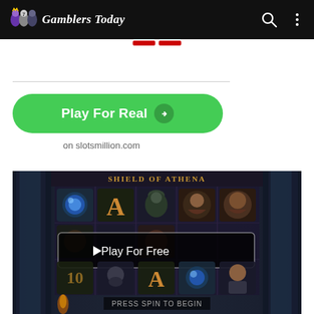Gamblers Today
[Figure (screenshot): Red dashes separator below nav bar]
[Figure (screenshot): Shield of Athena slot game screenshot with Play For Free overlay button. Shows slot reels with Greek mythology themed symbols including the letter A, Medusa, and other characters. Title 'SHIELD OF ATHENA' visible at top. 'PRESS SPIN TO BEGIN' text at bottom.]
Play For Real →
on slotsmillion.com